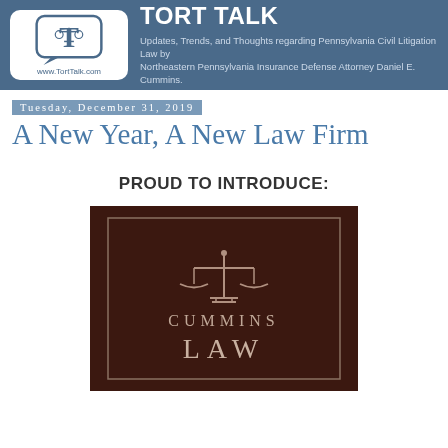TORT TALK — Updates, Trends, and Thoughts regarding Pennsylvania Civil Litigation Law by Northeastern Pennsylvania Insurance Defense Attorney Daniel E. Cummins. www.TortTalk.com
Tuesday, December 31, 2019
A New Year, A New Law Firm
PROUD TO INTRODUCE:
[Figure (logo): Cummins Law firm logo — scales of justice icon above text 'CUMMINS LAW' on dark brown background with decorative border]